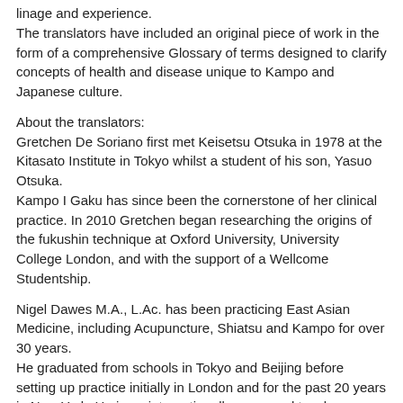linage and experience.
The translators have included an original piece of work in the form of a comprehensive Glossary of terms designed to clarify concepts of health and disease unique to Kampo and Japanese culture.
About the translators:
Gretchen De Soriano first met Keisetsu Otsuka in 1978 at the Kitasato Institute in Tokyo whilst a student of his son, Yasuo Otsuka.
Kampo I Gaku has since been the cornerstone of her clinical practice. In 2010 Gretchen began researching the origins of the fukushin technique at Oxford University, University College London, and with the support of a Wellcome Studentship.
Nigel Dawes M.A., L.Ac. has been practicing East Asian Medicine, including Acupuncture, Shiatsu and Kampo for over 30 years.
He graduated from schools in Tokyo and Beijing before setting up practice initially in London and for the past 20 years in New York. He is an internationally renowned teacher, particularly in the Kampo tradition, and has been published widely in the field.